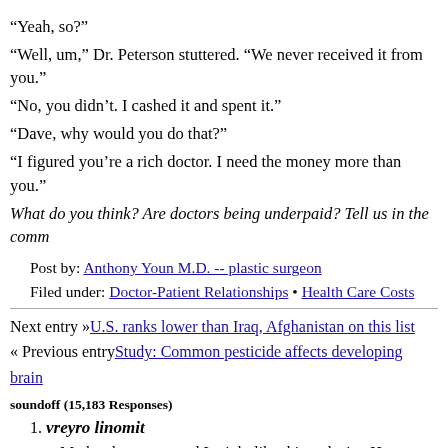“Yeah, so?”
“Well, um,” Dr. Peterson stuttered. “We never received it from you.”
“No, you didn’t. I cashed it and spent it.”
“Dave, why would you do that?”
“I figured you’re a rich doctor. I need the money more than you.”
What do you think? Are doctors being underpaid? Tell us in the comm
Post by: Anthony Youn M.D. -- plastic surgeon
Filed under: Doctor-Patient Relationships • Health Care Costs
Next entry »U.S. ranks lower than Iraq, Afghanistan on this list
« Previous entryStudy: Common pesticide affects developing brain
soundoff (15,183 Responses)
1. vreyro linomit
My brother suggested I might like this web site. He was entire my day. You can not imagine just how much time I had spent f